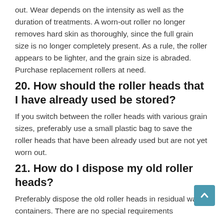out. Wear depends on the intensity as well as the duration of treatments. A worn-out roller no longer removes hard skin as thoroughly, since the full grain size is no longer completely present. As a rule, the roller appears to be lighter, and the grain size is abraded. Purchase replacement rollers at need.
20. How should the roller heads that I have already used be stored?
If you switch between the roller heads with various grain sizes, preferably use a small plastic bag to save the roller heads that have been already used but are not yet worn out.
21. How do I dispose my old roller heads?
Preferably dispose the old roller heads in residual waste containers. There are no special requirements